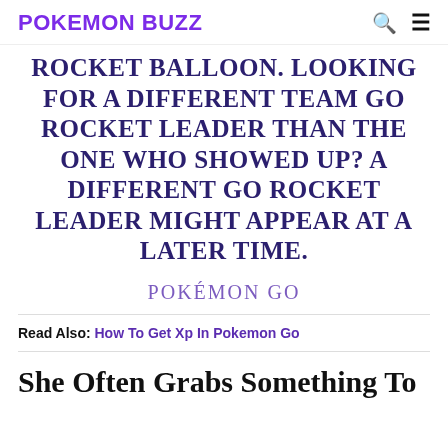POKEMON BUZZ
ROCKET BALLOON. LOOKING FOR A DIFFERENT TEAM GO ROCKET LEADER THAN THE ONE WHO SHOWED UP? A DIFFERENT GO ROCKET LEADER MIGHT APPEAR AT A LATER TIME.
POKÉMON GO
Read Also: How To Get Xp In Pokemon Go
She Often Grabs Something To